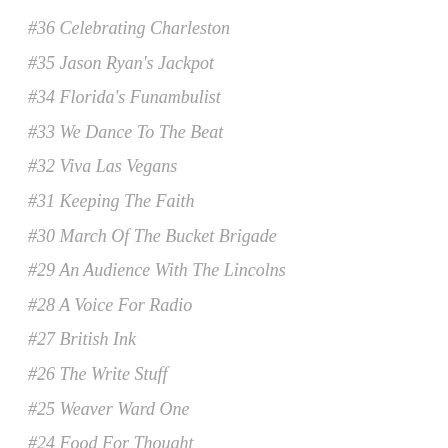#36 Celebrating Charleston
#35 Jason Ryan's Jackpot
#34 Florida's Funambulist
#33 We Dance To The Beat
#32 Viva Las Vegans
#31 Keeping The Faith
#30 March Of The Bucket Brigade
#29 An Audience With The Lincolns
#28 A Voice For Radio
#27 British Ink
#26 The Write Stuff
#25 Weaver Ward One
#24 Food For Thought
#23 Winston Unzipped